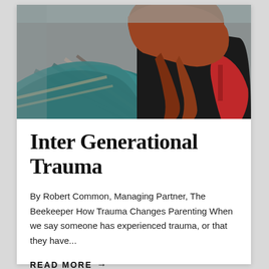[Figure (photo): Two people sitting together from behind, one wearing a teal plaid flannel shirt and one wearing a black jacket with a red bag, appearing to comfort each other.]
Inter Generational Trauma
By Robert Common, Managing Partner, The Beekeeper How Trauma Changes Parenting When we say someone has experienced trauma, or that they have...
READ MORE →